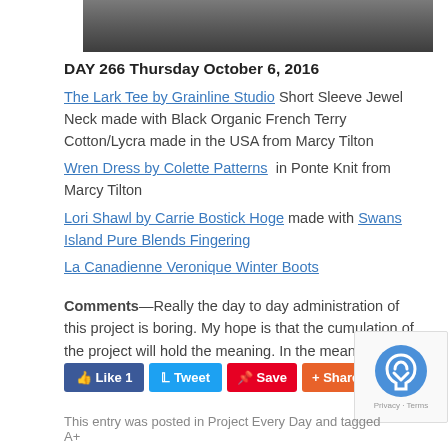[Figure (photo): Bottom edge of a photo showing a dark ground/pavement surface with scattered leaves]
DAY 266 Thursday October 6, 2016
The Lark Tee by Grainline Studio Short Sleeve Jewel Neck made with Black Organic French Terry Cotton/Lycra made in the USA from Marcy Tilton
Wren Dress by Colette Patterns in Ponte Knit from Marcy Tilton
Lori Shawl by Carrie Bostick Hoge made with Swans Island Pure Blends Fingering
La Canadienne Veronique Winter Boots
Comments—Really the day to day administration of this project is boring. My hope is that the cumulation of the project will hold the meaning. In the meantime, carry on.
[Figure (screenshot): Social media sharing buttons: Like 1 (Facebook), Tweet (Twitter), Save (Pinterest), Share (Google+), count badge 1, and reCAPTCHA widget]
This entry was posted in Project Every Day and tagged A+